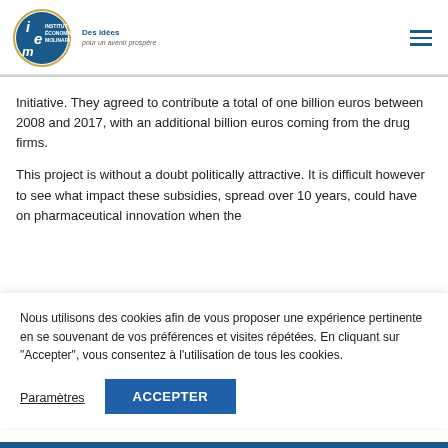Institut Économique Molinari — Des idées pour un avenir prospère
Initiative. They agreed to contribute a total of one billion euros between 2008 and 2017, with an additional billion euros coming from the drug firms.
This project is without a doubt politically attractive. It is difficult however to see what impact these subsidies, spread over 10 years, could have on pharmaceutical innovation when the
Nous utilisons des cookies afin de vous proposer une expérience pertinente en se souvenant de vos préférences et visites répétées. En cliquant sur "Accepter", vous consentez à l'utilisation de tous les cookies.
Paramètres
ACCEPTER